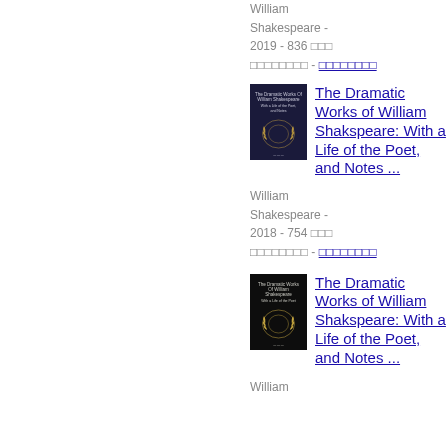William Shakespeare - 2019 - 836 □□□ □□□□□□□□ - □□□□□□□□
[Figure (illustration): Book cover of The Dramatic Works of William Shakespeare, navy blue with gold laurel emblem]
The Dramatic Works of William Shakspeare: With a Life of the Poet, and Notes ...
William Shakespeare - 2018 - 754 □□□ □□□□□□□□ - □□□□□□□□
[Figure (illustration): Book cover of The Dramatic Works of William Shakespeare, dark brown/black with gold laurel emblem]
The Dramatic Works of William Shakspeare: With a Life of the Poet, and Notes ...
William